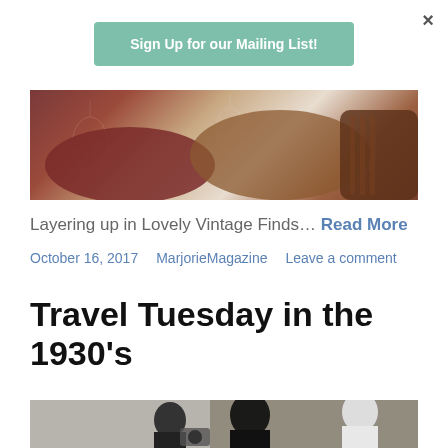×
Sign Up for our Mailing List!
[Figure (photo): Close-up photo of vintage shoes and accessories laid on a floral fabric background]
Layering up in Lovely Vintage Finds… Read More
October 16, 2017    MarjorieMagazine    Leave a comment
Travel Tuesday in the 1930's
[Figure (photo): Black and white photograph of people from the 1930s, appearing to be in a travel or social setting]